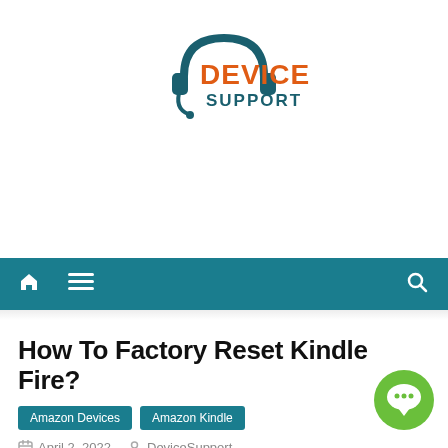[Figure (logo): Device Support logo — headset icon in dark teal with DEVICE in orange bold and SUPPORT in dark teal below]
Navigation bar with home icon, hamburger menu, and search icon on teal background
How To Factory Reset Kindle Fire?
Amazon Devices   Amazon Kindle
April 2, 2022   DeviceSupport